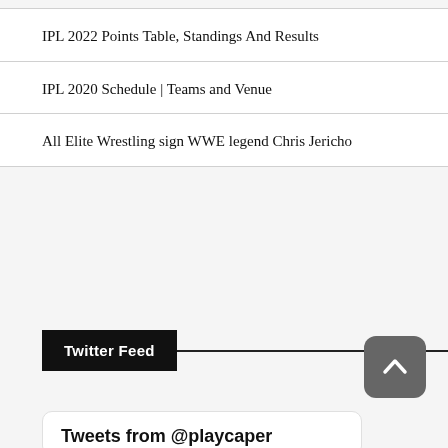IPL 2022 Points Table, Standings And Results
IPL 2020 Schedule | Teams and Venue
All Elite Wrestling sign WWE legend Chris Jericho
Twitter Feed
Tweets from @playcaper